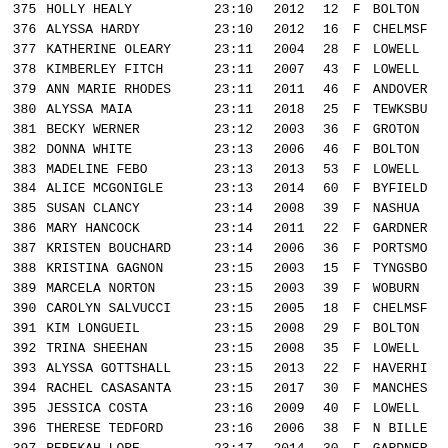| Place | Name | Time | Year | Age | Sex | City |
| --- | --- | --- | --- | --- | --- | --- |
| 375 | HOLLY HEALY | 23:10 | 2012 | 12 | F | BOLTON |
| 376 | ALYSSA HARDY | 23:10 | 2012 | 16 | F | CHELMSF |
| 377 | KATHERINE OLEARY | 23:11 | 2004 | 28 | F | LOWELL |
| 378 | KIMBERLEY FITCH | 23:11 | 2007 | 43 | F | LOWELL |
| 379 | ANN MARIE RHODES | 23:11 | 2011 | 46 | F | ANDOVER |
| 380 | ALYSSA MAIA | 23:11 | 2018 | 25 | F | TEWKSBU |
| 381 | BECKY WERNER | 23:12 | 2003 | 36 | F | GROTON |
| 382 | DONNA WHITE | 23:13 | 2006 | 46 | F | BOLTON |
| 383 | MADELINE FEBO | 23:13 | 2013 | 53 | F | LOWELL |
| 384 | ALICE MCGONIGLE | 23:13 | 2014 | 60 | F | BYFIELD |
| 385 | SUSAN CLANCY | 23:14 | 2008 | 39 | F | NASHUA |
| 386 | MARY HANCOCK | 23:14 | 2011 | 22 | F | GARDNER |
| 387 | KRISTEN BOUCHARD | 23:14 | 2006 | 36 | F | PORTSMO |
| 388 | KRISTINA GAGNON | 23:15 | 2003 | 15 | F | TYNGSBO |
| 389 | MARCELA NORTON | 23:15 | 2003 | 39 | F | WOBURN |
| 390 | CAROLYN SALVUCCI | 23:15 | 2005 | 18 | F | CHELMSF |
| 391 | KIM LONGUEIL | 23:15 | 2008 | 29 | F | BOLTON |
| 392 | TRINA SHEEHAN | 23:15 | 2008 | 35 | F | LOWELL |
| 393 | ALYSSA GOTTSHALL | 23:15 | 2013 | 22 | F | HAVERHI |
| 394 | RACHEL CASASANTA | 23:15 | 2017 | 30 | F | MANCHES |
| 395 | JESSICA COSTA | 23:16 | 2009 | 40 | F | LOWELL |
| 396 | THERESE TEDFORD | 23:16 | 2006 | 38 | F | N BILLE |
| 397 | REBEKAH LORE | 23:17 | 2014 | 30 | F | GARDNER |
| 398 | KAREN GIROUARD | 23:17 | 2015 | 37 | F | N. BILL |
| 399 | LEAH PRINCE | 23:17 | 2019 | 40 | F | PELHAM |